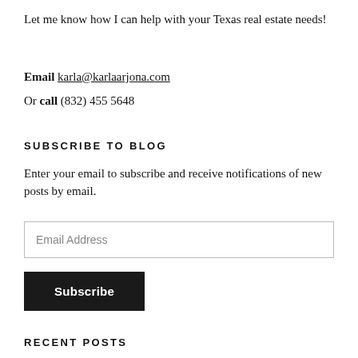Let me know how I can help with your Texas real estate needs!
Email karla@karlaarjona.com
Or call (832) 455 5648
SUBSCRIBE TO BLOG
Enter your email to subscribe and receive notifications of new posts by email.
Email Address
Subscribe
RECENT POSTS